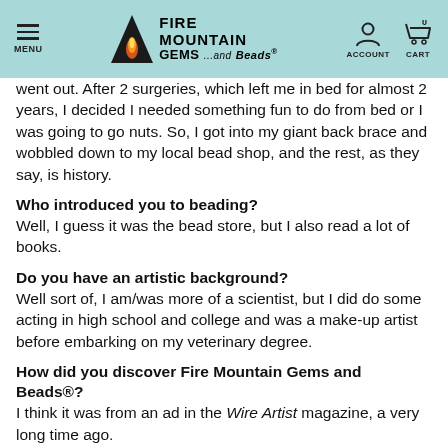MENU | FIRE MOUNTAIN GEMS ...and Beads® | ACCOUNT | CART 0
went out. After 2 surgeries, which left me in bed for almost 2 years, I decided I needed something fun to do from bed or I was going to go nuts. So, I got into my giant back brace and wobbled down to my local bead shop, and the rest, as they say, is history.
Who introduced you to beading?
Well, I guess it was the bead store, but I also read a lot of books.
Do you have an artistic background?
Well sort of, I am/was more of a scientist, but I did do some acting in high school and college and was a make-up artist before embarking on my veterinary degree.
How did you discover Fire Mountain Gems and Beads®?
I think it was from an ad in the Wire Artist magazine, a very long time ago.
What other hobbies do you have?
Veterinary medicine.